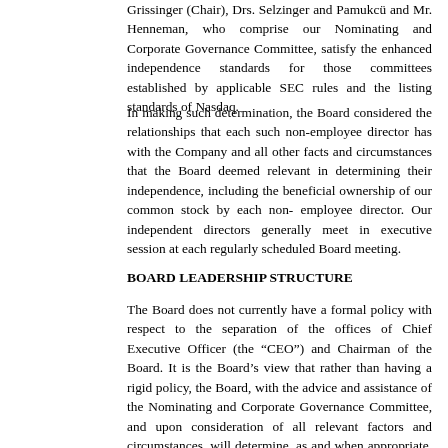Grissinger (Chair), Drs. Selzinger and Pamukcü and Mr. Henneman, who comprise our Nominating and Corporate Governance Committee, satisfy the enhanced independence standards for those committees established by applicable SEC rules and the listing standards of Nasdaq.
In making such determination, the Board considered the relationships that each such non-employee director has with the Company and all other facts and circumstances that the Board deemed relevant in determining their independence, including the beneficial ownership of our common stock by each non-employee director. Our independent directors generally meet in executive session at each regularly scheduled Board meeting.
BOARD LEADERSHIP STRUCTURE
The Board does not currently have a formal policy with respect to the separation of the offices of Chief Executive Officer (the “CEO”) and Chairman of the Board. It is the Board’s view that rather than having a rigid policy, the Board, with the advice and assistance of the Nominating and Corporate Governance Committee, and upon consideration of all relevant factors and circumstances, will determine, as and when appropriate, whether the two offices should be combined or separate. Currently, our leadership structure combines the offices of CEO and Chairman of the Board with Mr. Schade serving as our CEO and as Chairman of the Board. After the conclusion of the Annual Meeting, Mr. Schade will become the Executive Chairman of the Board and Dr. Gilad will assume the duties of